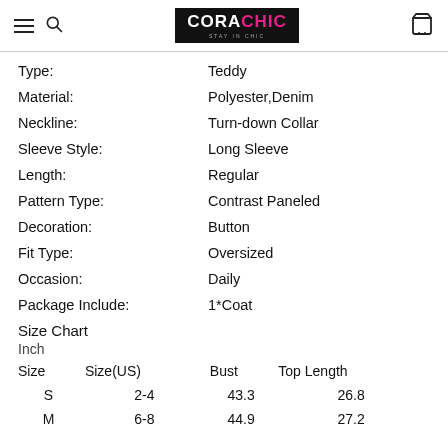CORACHIC — navigation header with logo, hamburger menu, search, and cart icons
Type: Teddy
Material: Polyester,Denim
Neckline: Turn-down Collar
Sleeve Style: Long Sleeve
Length: Regular
Pattern Type: Contrast Paneled
Decoration: Button
Fit Type: Oversized
Occasion: Daily
Package Include: 1*Coat
Size Chart
Inch
| Size | Size(US) | Bust | Top Length |
| --- | --- | --- | --- |
| S | 2-4 | 43.3 | 26.8 |
| M | 6-8 | 44.9 | 27.2 |